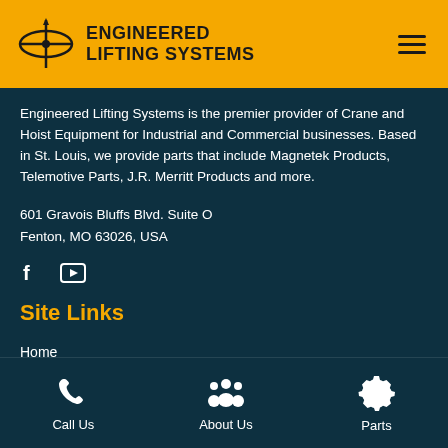ENGINEERED LIFTING SYSTEMS
Engineered Lifting Systems is the premier provider of Crane and Hoist Equipment for Industrial and Commercial businesses. Based in St. Louis, we provide parts that include Magnetek Products, Telemotive Parts, J.R. Merritt Products and more.
601 Gravois Bluffs Blvd. Suite O
Fenton, MO 63026, USA
[Figure (illustration): Social media icons: Facebook (f) and YouTube (play button square)]
Site Links
Home
About Us
[Figure (illustration): Bottom navigation bar with three items: Call Us (phone icon), About Us (people icon), Parts (gear icon)]